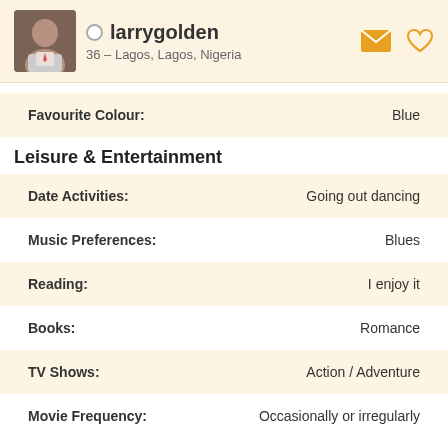larrygolden
36 – Lagos, Lagos, Nigeria
Favourite Colour: Blue
Leisure & Entertainment
Date Activities: Going out dancing
Music Preferences: Blues
Reading: I enjoy it
Books: Romance
TV Shows: Action / Adventure
Movie Frequency: Occasionally or irregularly